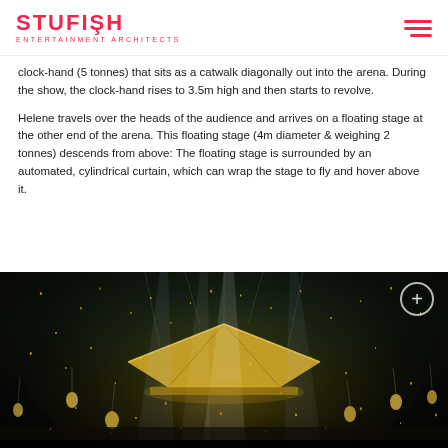STUFISH ENTERTAINMENT ARCHITECTS
clock-hand (5 tonnes) that sits as a catwalk diagonally out into the arena. During the show, the clock-hand rises to 3.5m high and then starts to revolve.
Helene travels over the heads of the audience and arrives on a floating stage at the other end of the arena. This floating stage (4m diameter & weighing 2 tonnes) descends from above: The floating stage is surrounded by an automated, cylindrical curtain, which can wrap the stage to fly and hover above it.
[Figure (photo): Concert stage photo showing a large illuminated roof structure with beams of light, gold confetti falling, performers in yellow costumes on and around the stage, dramatic arena show atmosphere.]